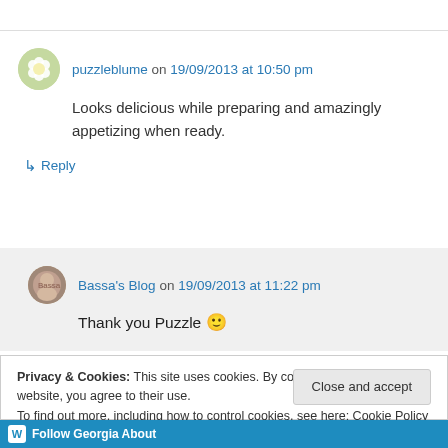puzzleblume on 19/09/2013 at 10:50 pm
Looks delicious while preparing and amazingly appetizing when ready.
↳ Reply
Bassa's Blog on 19/09/2013 at 11:22 pm
Thank you Puzzle 🙂
Privacy & Cookies: This site uses cookies. By continuing to use this website, you agree to their use.
To find out more, including how to control cookies, see here: Cookie Policy
Close and accept
Follow Georgia About